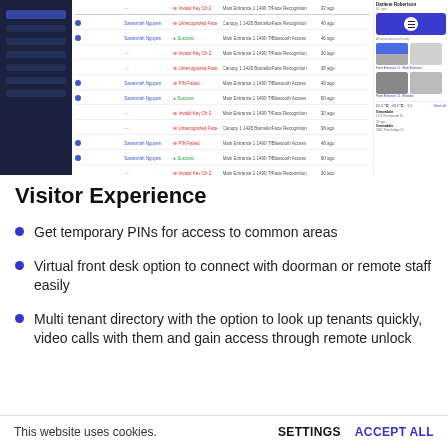[Figure (screenshot): Screenshot of a building access management software interface showing a sidebar navigation on the left, a data table in the center with rows of access log entries including names, locations, access types, and timestamps, and a right panel showing a property listing with photos and a menu button.]
Visitor Experience
Get temporary PINs for access to common areas
Virtual front desk option to connect with doorman or remote staff easily
Multi tenant directory with the option to look up tenants quickly, video calls with them and gain access through remote unlock
This website uses cookies.   SETTINGS   ACCEPT ALL